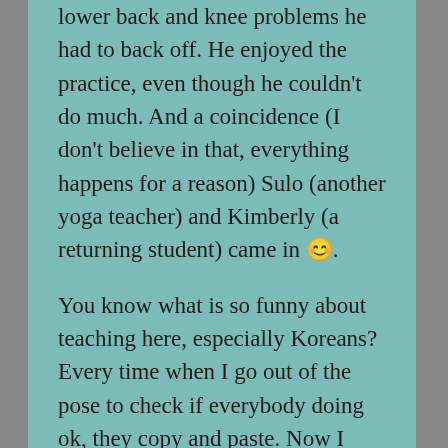lower back and knee problems he had to back off. He enjoyed the practice, even though he couldn't do much. And a coincidence (I don't believe in that, everything happens for a reason) Sulo (another yoga teacher) and Kimberly (a returning student) came in 😊.

You know what is so funny about teaching here, especially Koreans? Every time when I go out of the pose to check if everybody doing ok, they copy and paste. Now I finally understand why everything what's made in China or Korea is so cheap, just copy and paste. We present them how it can be done, they duplicate it, cheaper because they don't have to do all the research et voilà, off you go